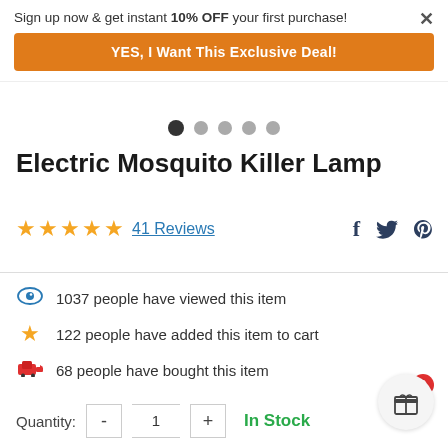Sign up now & get instant 10% OFF your first purchase!
YES, I Want This Exclusive Deal!
Electric Mosquito Killer Lamp
41 Reviews
1037 people have viewed this item
122 people have added this item to cart
68 people have bought this item
Quantity:  -  1  +  In Stock